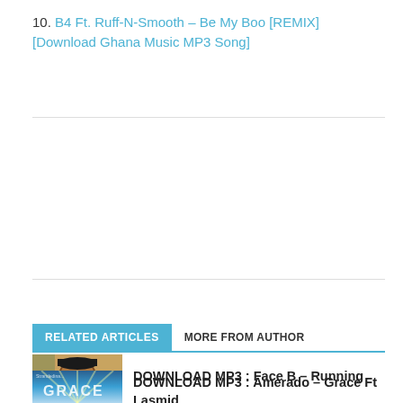10. B4 Ft. Ruff-N-Smooth – Be My Boo [REMIX] [Download Ghana Music MP3 Song]
RELATED ARTICLES   MORE FROM AUTHOR
DOWNLOAD MP3 : Face B – Running
[Figure (photo): Thumbnail photo of a man wearing a black cap]
DOWNLOAD MP3 : Amerado – Grace Ft Lasmid
[Figure (photo): Thumbnail image with blue background and text GRACE]